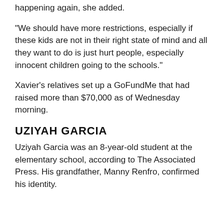…our lives need to be changed to stop this from happening again, she added.
“We should have more restrictions, especially if these kids are not in their right state of mind and all they want to do is just hurt people, especially innocent children going to the schools.”
Xavier's relatives set up a GoFundMe that had raised more than $70,000 as of Wednesday morning.
UZIYAH GARCIA
Uziyah Garcia was an 8-year-old student at the elementary school, according to The Associated Press. His grandfather, Manny Renfro, confirmed his identity.